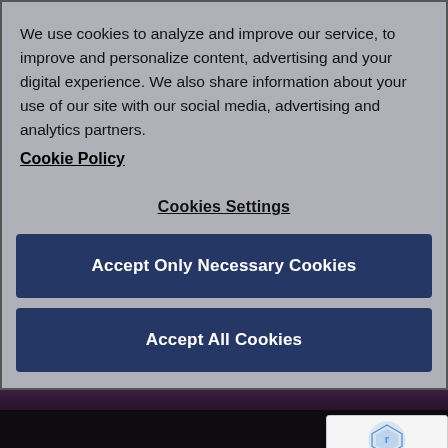We use cookies to analyze and improve our service, to improve and personalize content, advertising and your digital experience. We also share information about your use of our site with our social media, advertising and analytics partners.
Cookie Policy
Cookies Settings
Accept Only Necessary Cookies
Accept All Cookies
Useful
Site terms
Privacy P...
Cookie Policy